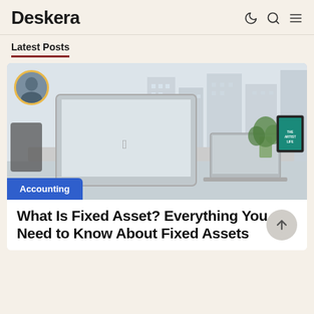Deskera
Latest Posts
[Figure (photo): Office workspace with iMac desktop computer, laptop, plant, and framed teal poster, with city buildings visible through large windows in the background. Small circular avatar photo of a person overlaid at top-left.]
Accounting
What Is Fixed Asset? Everything You Need to Know About Fixed Assets